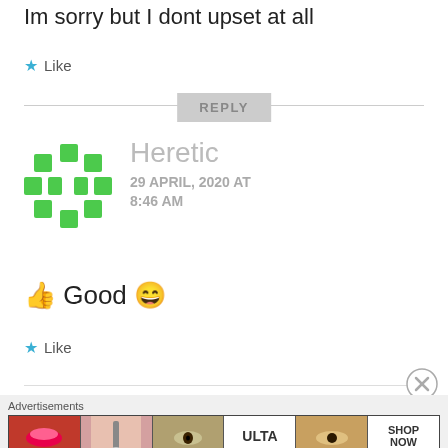Im sorry but I dont upset at all
★ Like
REPLY
Heretic
29 APRIL, 2020 AT 8:46 AM
👍 Good 😄
★ Like
Advertisements